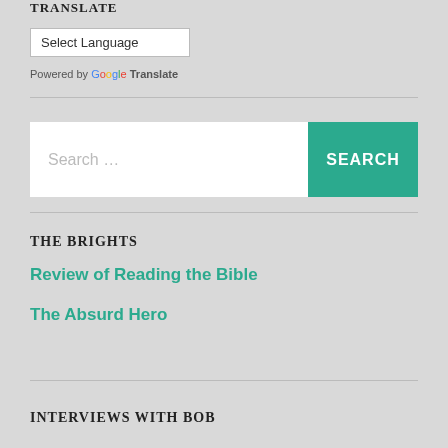TRANSLATE
[Figure (screenshot): Select Language dropdown widget with arrow]
Powered by Google Translate
[Figure (screenshot): Search input box with teal SEARCH button]
THE BRIGHTS
Review of Reading the Bible
The Absurd Hero
INTERVIEWS WITH BOB